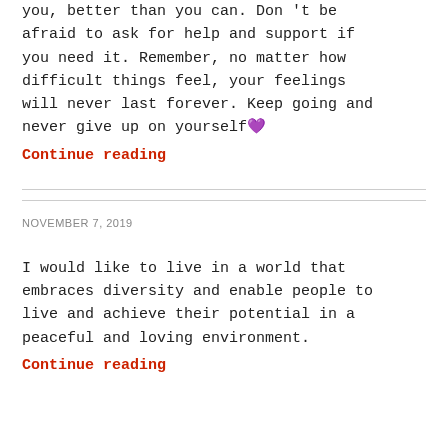you, better than you can. Don't be afraid to ask for help and support if you need it. Remember, no matter how difficult things feel, your feelings will never last forever. Keep going and never give up on yourself💜
Continue reading
NOVEMBER 7, 2019
I would like to live in a world that embraces diversity and enable people to live and achieve their potential in a peaceful and loving environment.
Continue reading